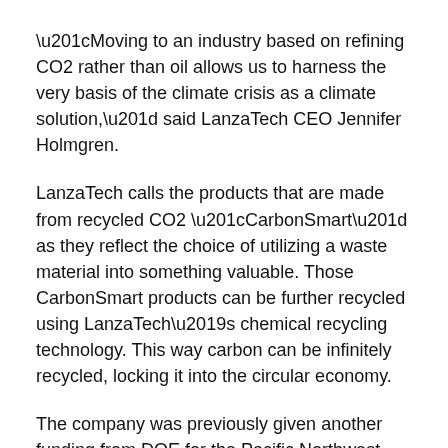“Moving to an industry based on refining CO2 rather than oil allows us to harness the very basis of the climate crisis as a climate solution,” said LanzaTech CEO Jennifer Holmgren.
LanzaTech calls the products that are made from recycled CO2 “CarbonSmart” as they reflect the choice of utilizing a waste material into something valuable. Those CarbonSmart products can be further recycled using LanzaTech’s chemical recycling technology. This way carbon can be infinitely recycled, locking it into the circular economy.
The company was previously given another funding from DOE for the Pacific Northwest National Laboratory’s Co-Optimization of Fuels & Engines (Co-Optima) initiative. LanzaTech received up to $300,000 to research and